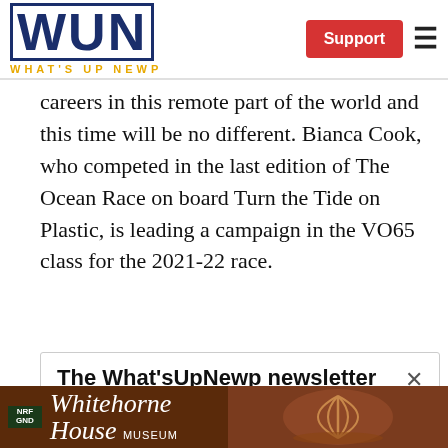WUN WHAT'S UP NEWP | Support
careers in this remote part of the world and this time will be no different. Bianca Cook, who competed in the last edition of The Ocean Race on board Turn the Tide on Plastic, is leading a campaign in the VO65 class for the 2021-22 race.
The What'sUpNewp newsletter ×
[Figure (photo): Whitehorne House Museum advertisement banner with decorative wooden shell carving on brown/mahogany background]